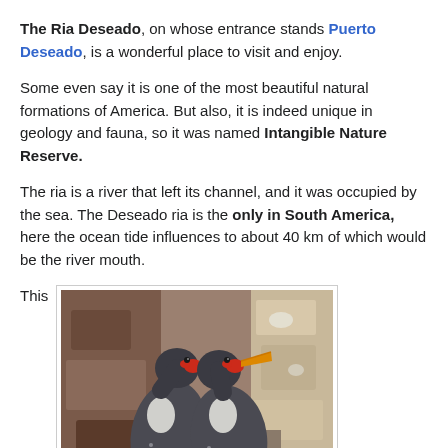The Ria Deseado, on whose entrance stands Puerto Deseado, is a wonderful place to visit and enjoy.
Some even say it is one of the most beautiful natural formations of America. But also, it is indeed unique in geology and fauna, so it was named Intangible Nature Reserve.
The ria is a river that left its channel, and it was occupied by the sea. The Deseado ria is the only in South America, here the ocean tide influences to about 40 km of which would be the river mouth.
This
[Figure (photo): Two Rock Shags (cormorant-like seabirds) with red facial skin and orange-red bills, grey-black plumage with white chest patches, nestled among reddish-brown and grey rocky surfaces.]